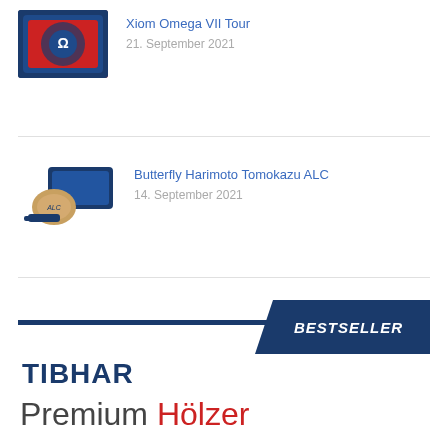[Figure (photo): Table tennis rubber product (Xiom Omega VII Tour) - blue and red rubber sheets]
Xiom Omega VII Tour
21. September 2021
[Figure (photo): Table tennis blade (Butterfly Harimoto Tomokazu ALC) with blue case]
Butterfly Harimoto Tomokazu ALC
14. September 2021
[Figure (infographic): TIBHAR Premium Hölzer bestseller advertisement banner with dark navy diagonal header bar labeled BESTSELLER and large text TIBHAR Premium Hölzer]